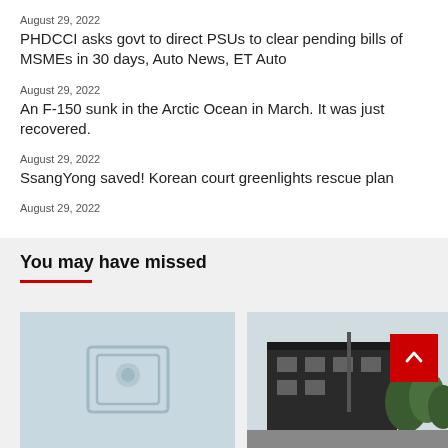August 29, 2022
PHDCCI asks govt to direct PSUs to clear pending bills of MSMEs in 30 days, Auto News, ET Auto
August 29, 2022
An F-150 sunk in the Arctic Ocean in March. It was just recovered.
August 29, 2022
SsangYong saved! Korean court greenlights rescue plan
August 29, 2022
You may have missed
[Figure (photo): Placeholder image thumbnail on left]
[Figure (photo): Building exterior thumbnail on right]